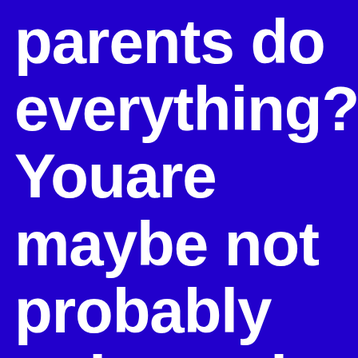parents do everything? Youare maybe not probably going to be used to this, also it can